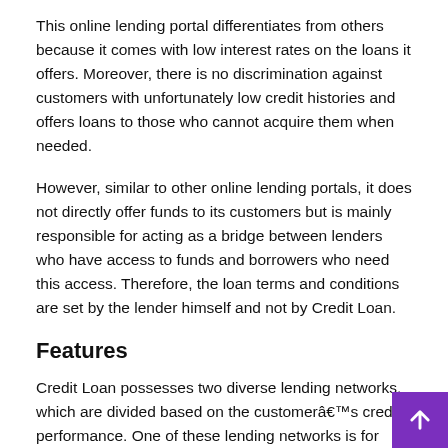This online lending portal differentiates from others because it comes with low interest rates on the loans it offers. Moreover, there is no discrimination against customers with unfortunately low credit histories and offers loans to those who cannot acquire them when needed.
However, similar to other online lending portals, it does not directly offer funds to its customers but is mainly responsible for acting as a bridge between lenders who have access to funds and borrowers who need this access. Therefore, the loan terms and conditions are set by the lender himself and not by Credit Loan.
Features
Credit Loan possesses two diverse lending networks, which are divided based on the customerâ€™s credit performance. One of these lending networks is for those who suffer from poor cr while the other is for those who have managed to sustain a fair